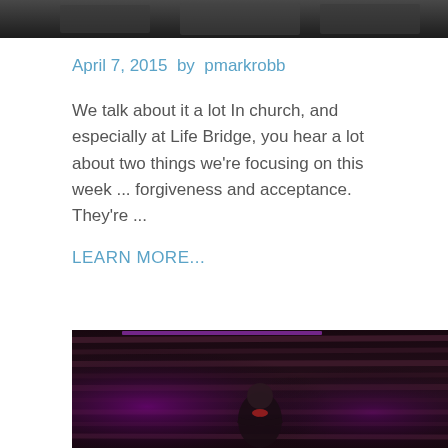[Figure (photo): Dark photo strip at top of page showing people in low light]
April 7, 2015  by  pmarkrobb
We talk about it a lot In church, and especially at Life Bridge, you hear a lot about two things we're focusing on this week ... forgiveness and acceptance.  They're ...
LEARN MORE...
[Figure (photo): A bald man with beard standing on a stage with dark wood-paneled background lit with purple accent lights, appearing to be a church speaker]